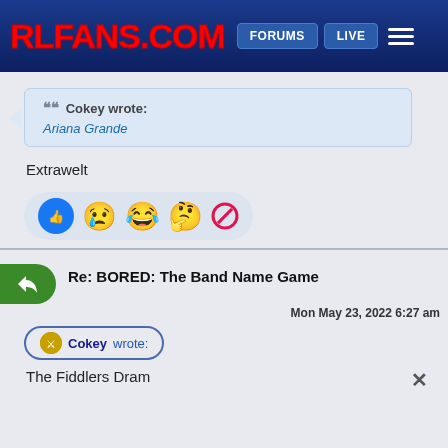RLFANS.COM | FORUMS | LIVE
Cokey wrote:
Ariana Grande
Extrawelt
Re: BORED: The Band Name Game
Mon May 23, 2022 6:27 am
Cokey wrote:
The Fiddlers Dram